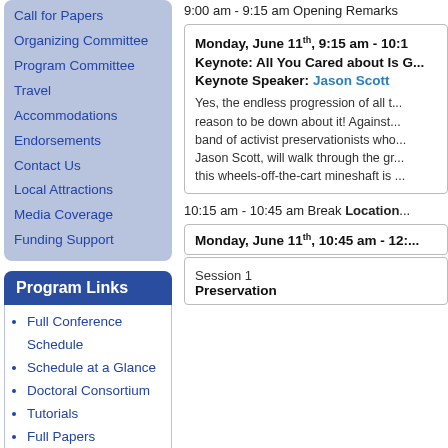Call for Papers
Organizing Committee
Program Committee
Travel
Accommodations
Endorsements
Contact Us
Local Attractions
Media Coverage
Funding Support
Program Links
Full Conference Schedule
Schedule at a Glance
Doctoral Consortium
Tutorials
Full Papers
Short Papers
Panels
Posters
9:00 am - 9:15 am Opening Remarks
Monday, June 11th, 9:15 am - 10:1...
Keynote: All You Cared about Is G...
Keynote Speaker: Jason Scott
Yes, the endless progression of all t... reason to be down about it! Against... band of activist preservationists who... Jason Scott, will walk through the gr... this wheels-off-the-cart mineshaft is ...
10:15 am - 10:45 am Break Location...
Monday, June 11th, 10:45 am - 12:...
Session 1
Preservation